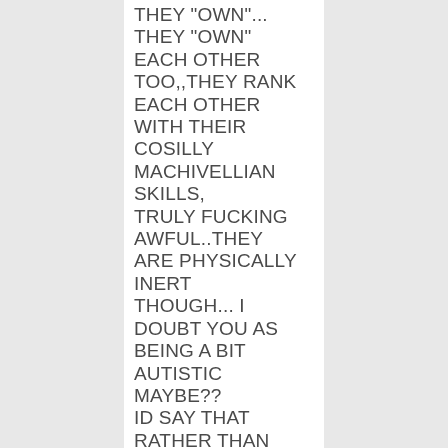THEY "OWN"... THEY "OWN" EACH OTHER TOO,,THEY RANK EACH OTHER WITH THEIR COSILLY MACHIVELLIAN SKILLS, TRULY FUCKING AWFUL..THEY ARE PHYSICALLY INERT THOUGH... I DOUBT YOU AS BEING A BIT AUTISTIC MAYBE?? ID SAY THAT RATHER THAN BORDERLINE,,, DONT YU EVEN